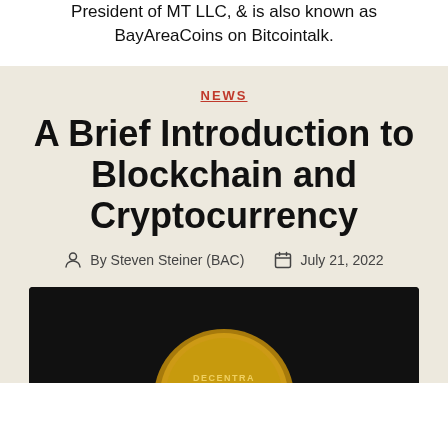President of MT LLC, & is also known as BayAreaCoins on Bitcointalk.
NEWS
A Brief Introduction to Blockchain and Cryptocurrency
By Steven Steiner (BAC)   July 21, 2022
[Figure (photo): Dark background photo showing a gold coin with 'DECENTRALI' text visible at the bottom]